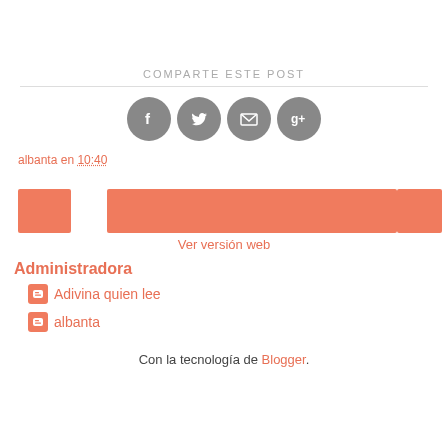COMPARTE ESTE POST
[Figure (other): Four social media icon circles (Facebook, Twitter, email, Google+) in gray]
albanta en 10:40
[Figure (other): Three orange/salmon colored rectangular bars representing navigation or pagination elements]
Ver versión web
Administradora
Adivina quien lee
albanta
Con la tecnología de Blogger.